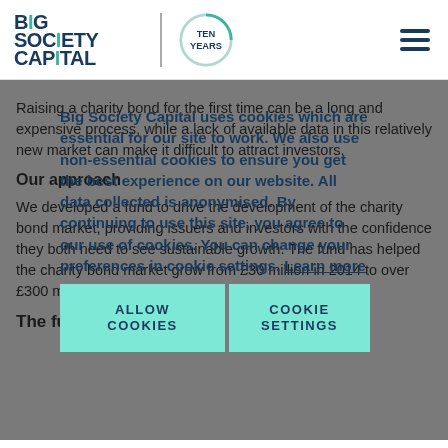[Figure (logo): Big Society Capital logo with 'Ten Years' circular badge and hamburger menu icon]
Raising a charity bond for the first time can be a long and expensive process, while a lack of available data in this relatively new market can make it difficult to attract investors.
Our approach
Big Society Capital uses cookies which are essential for our site to work. We also use non-essential cookies to ensure you get the best experience on our website. All data collected is anonymised. By continuing to use this site, you agree to our use of cookies. You can change your preferences in cookie settings. Learn more
We developed a fund to drive the development of the charity bond market, providing issuers and investors with the confidence they both need to see sustainable growth. The fund has helped the charity bond market grow from £30 million in 2014 to over £300 million in 2019.
The fund